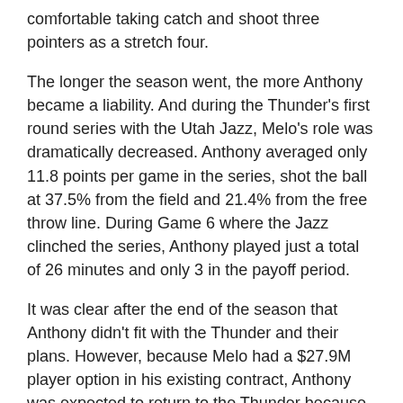comfortable taking catch and shoot three pointers as a stretch four.
The longer the season went, the more Anthony became a liability. And during the Thunder's first round series with the Utah Jazz, Melo's role was dramatically decreased. Anthony averaged only 11.8 points per game in the series, shot the ball at 37.5% from the field and 21.4% from the free throw line. During Game 6 where the Jazz clinched the series, Anthony played just a total of 26 minutes and only 3 in the payoff period.
It was clear after the end of the season that Anthony didn't fit with the Thunder and their plans. However, because Melo had a $27.9M player option in his existing contract, Anthony was expected to return to the Thunder because with his 2017-18 performance, he wasn't going to get the same amount of money if he opted out and tested the free agent market.